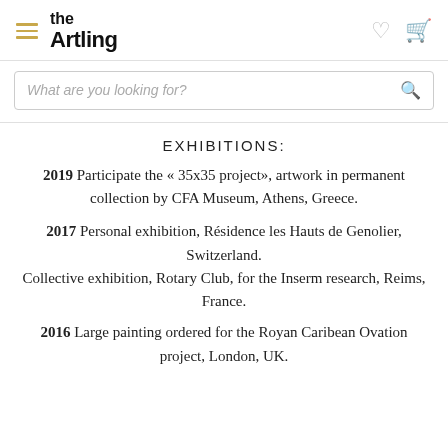the Artling
EXHIBITIONS:
2019  Participate the « 35x35 project», artwork in permanent collection by CFA Museum, Athens, Greece.
2017 Personal exhibition, Résidence les Hauts de Genolier, Switzerland.
Collective exhibition, Rotary Club, for the Inserm research, Reims, France.
2016 Large painting ordered for the Royan Caribean Ovation project, London, UK.